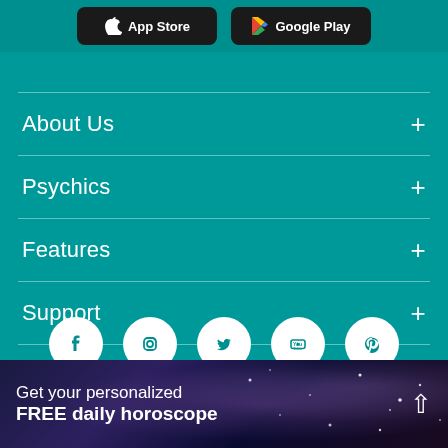[Figure (screenshot): App Store and Google Play download buttons]
About Us +
Psychics +
Features +
Support +
[Figure (infographic): Social media icons: Facebook, Instagram, Twitter, YouTube, Pinterest]
Get your personalized FREE daily horoscope